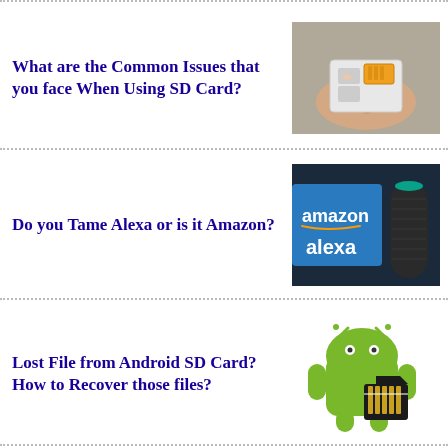What are the Common Issues that you face When Using SD Card?
[Figure (photo): A hand holding an SD card adapter with a small SD card being inserted, on a grey textured background.]
Do you Tame Alexa or is it Amazon?
[Figure (photo): Amazon Alexa smart speaker device next to the Amazon and Alexa logo text on a blue/grey gradient background.]
Lost File from Android SD Card? How to Recover those files?
[Figure (illustration): Android robot (green) holding an SD card illustration on white background.]